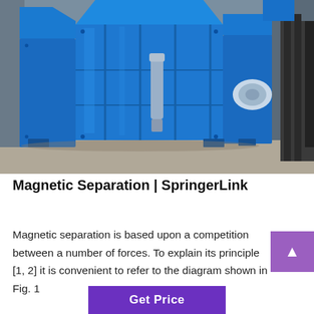[Figure (photo): A large blue industrial magnetic separation machine / crusher photographed in what appears to be a factory or warehouse setting. The machine is heavy-duty, painted bright blue, and sits on a concrete floor.]
Magnetic Separation | SpringerLink
Magnetic separation is based upon a competition between a number of forces. To explain its principle [1, 2] it is convenient to refer to the diagram shown in Fig. 1